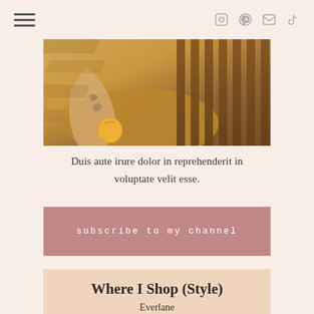Navigation header with hamburger menu and social icons (Instagram, Pinterest, Email, TikTok)
[Figure (photo): Person with tattooed arm holding an orange/yellow fruit, sitting in a wooden slatted chair, wearing ochre/mustard colored clothing, sunlight casting shadows]
Duis aute irure dolor in reprehenderit in voluptate velit esse.
subscribe to my channel
Where I Shop (Style)
Everlane